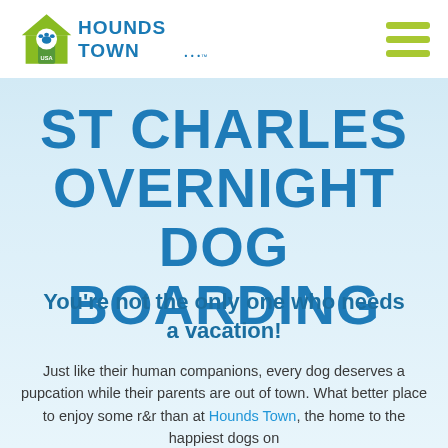[Figure (logo): Hounds Town USA logo with green house icon and paw print, bold blue text reading HOUNDS TOWN with stylized lettering]
ST CHARLES OVERNIGHT DOG BOARDING
You're not the only one who needs a vacation!
Just like their human companions, every dog deserves a pupcation while their parents are out of town. What better place to enjoy some r&r than at Hounds Town, the home to the happiest dogs on